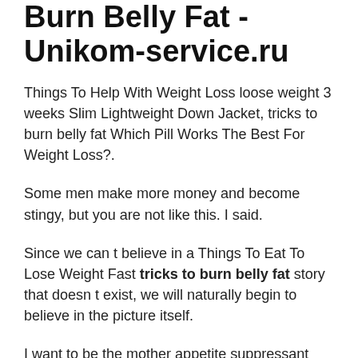Burn Belly Fat - Unikom-service.ru
Things To Help With Weight Loss loose weight 3 weeks Slim Lightweight Down Jacket, tricks to burn belly fat Which Pill Works The Best For Weight Loss?.
Some men make more money and become stingy, but you are not like this. I said.
Since we can t believe in a Things To Eat To Lose Weight Fast tricks to burn belly fat story that doesn t exist, we will naturally begin to believe in the picture itself.
I want to be the mother appetite suppressant essential oils in tricks to burn belly fat this picture. I want the birds